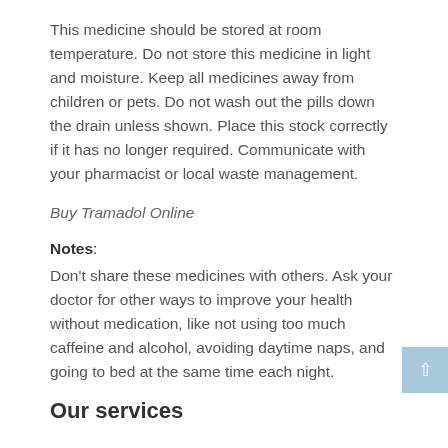This medicine should be stored at room temperature. Do not store this medicine in light and moisture. Keep all medicines away from children or pets. Do not wash out the pills down the drain unless shown. Place this stock correctly if it has no longer required. Communicate with your pharmacist or local waste management.
Buy Tramadol Online
Notes:
Don't share these medicines with others. Ask your doctor for other ways to improve your health without medication, like not using too much caffeine and alcohol, avoiding daytime naps, and going to bed at the same time each night.
Our services